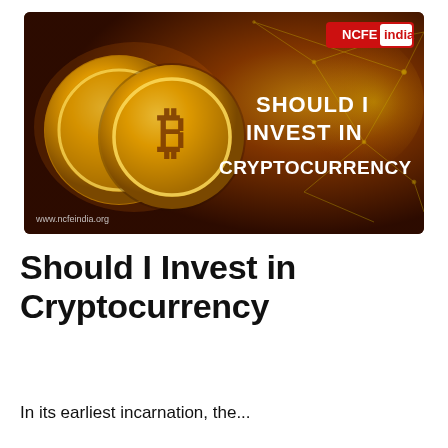[Figure (illustration): Dark reddish-brown banner image showing two golden Bitcoin coins on the left side against a dark background with glowing network lines. On the right side, bold white text reads 'SHOULD I INVEST IN CRYPTOCURRENCY'. The NCFE India logo appears in the top-right corner in a red box. The URL www.ncfeindia.org appears at the bottom left.]
Should I Invest in Cryptocurrency
In its earliest incarnation, the...